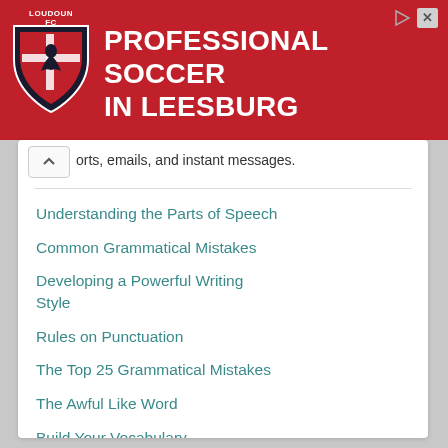[Figure (illustration): Red advertisement banner for Loudoun Soccer with shield logo and text 'PROFESSIONAL SOCCER IN LEESBURG']
orts, emails, and instant messages.
Understanding the Parts of Speech
Common Grammatical Mistakes
Developing a Powerful Writing Style
Rules on Punctuation
The Top 25 Grammatical Mistakes
The Awful Like Word
Build Your Vocabulary
MORE EBOOKS »